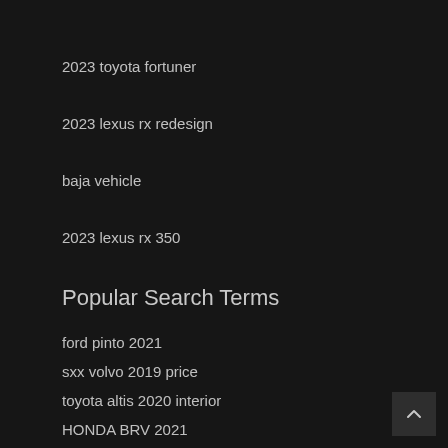2023 toyota fortuner
2023 lexus rx redesign
baja vehicle
2023 lexus rx 350
Popular Search Terms
ford pinto 2021
sxx volvo 2019 price
toyota altis 2020 interior
HONDA BRV 2021